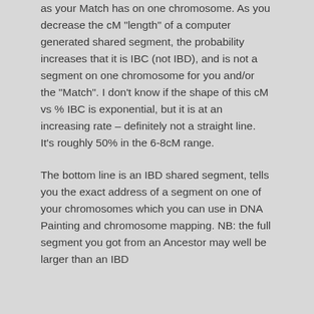as your Match has on one chromosome. As you decrease the cM "length" of a computer generated shared segment, the probability increases that it is IBC (not IBD), and is not a segment on one chromosome for you and/or the "Match". I don't know if the shape of this cM vs % IBC is exponential, but it is at an increasing rate – definitely not a straight line. It's roughly 50% in the 6-8cM range.
The bottom line is an IBD shared segment, tells you the exact address of a segment on one of your chromosomes which you can use in DNA Painting and chromosome mapping. NB: the full segment you got from an Ancestor may well be larger than an IBD